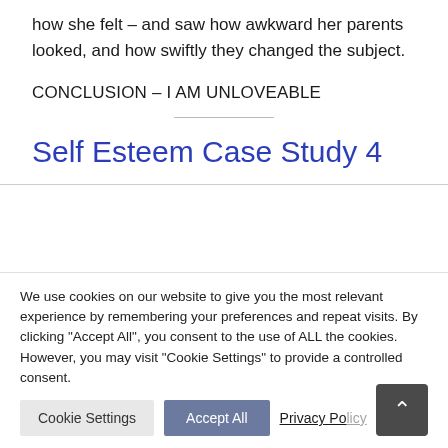how she felt – and saw how awkward her parents looked, and how swiftly they changed the subject.
CONCLUSION – I AM UNLOVEABLE
Self Esteem Case Study 4
We use cookies on our website to give you the most relevant experience by remembering your preferences and repeat visits. By clicking "Accept All", you consent to the use of ALL the cookies. However, you may visit "Cookie Settings" to provide a controlled consent.